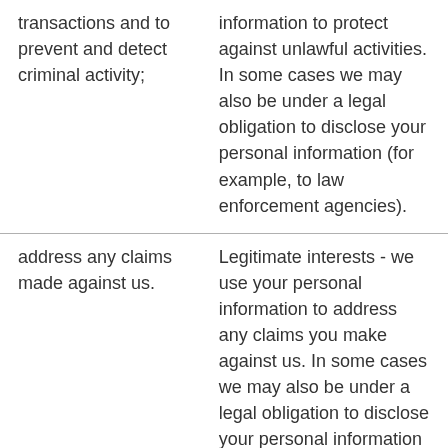| transactions and to prevent and detect criminal activity; | information to protect against unlawful activities. In some cases we may also be under a legal obligation to disclose your personal information (for example, to law enforcement agencies). |
| address any claims made against us. | Legitimate interests - we use your personal information to address any claims you make against us. In some cases we may also be under a legal obligation to disclose your personal information (for example, in connection with legal proceedings). |